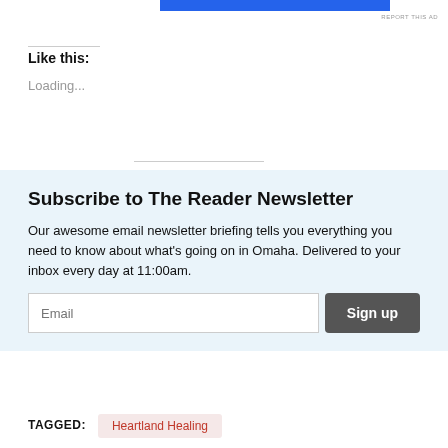[Figure (other): Blue advertisement banner bar at top]
REPORT THIS AD
Like this:
Loading...
Subscribe to The Reader Newsletter
Our awesome email newsletter briefing tells you everything you need to know about what's going on in Omaha. Delivered to your inbox every day at 11:00am.
TAGGED:
Heartland Healing